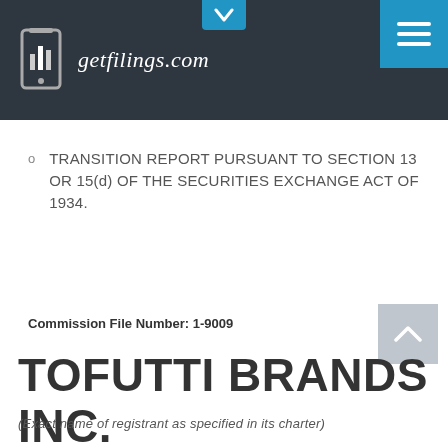[Figure (logo): getfilings.com logo with mobile phone icon on dark background header]
TRANSITION REPORT PURSUANT TO SECTION 13 OR 15(d) OF THE SECURITIES EXCHANGE ACT OF 1934.
Commission File Number: 1-9009
TOFUTTI BRANDS INC.
(Exact name of registrant as specified in its charter)